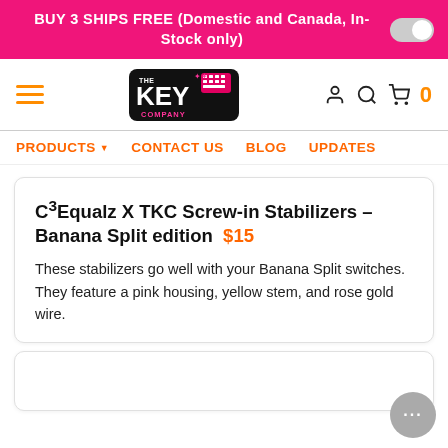BUY 3 SHIPS FREE (Domestic and Canada, In-Stock only)
[Figure (logo): The Key Company logo - stylized keyboard with THE KEY COMPANY text in a badge shape]
PRODUCTS ▼   CONTACT US   BLOG   UPDATES
C³Equalz X TKC Screw-in Stabilizers – Banana Split edition  $15
These stabilizers go well with your Banana Split switches. They feature a pink housing, yellow stem, and rose gold wire.